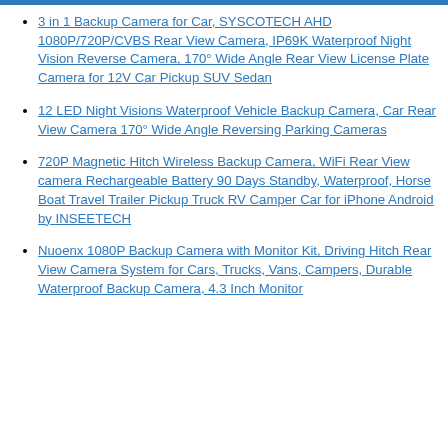3 in 1 Backup Camera for Car, SYSCOTECH AHD 1080P/720P/CVBS Rear View Camera, IP69K Waterproof Night Vision Reverse Camera, 170° Wide Angle Rear View License Plate Camera for 12V Car Pickup SUV Sedan
12 LED Night Visions Waterproof Vehicle Backup Camera, Car Rear View Camera 170° Wide Angle Reversing Parking Cameras
720P Magnetic Hitch Wireless Backup Camera, WiFi Rear View camera Rechargeable Battery 90 Days Standby, Waterproof, Horse Boat Travel Trailer Pickup Truck RV Camper Car for iPhone Android by INSEETECH
Nuoenx 1080P Backup Camera with Monitor Kit, Driving Hitch Rear View Camera System for Cars, Trucks, Vans, Campers, Durable Waterproof Backup Camera, 4.3 Inch Monitor